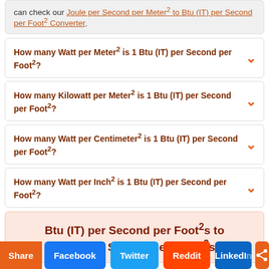can check our Joule per Second per Meter² to Btu (IT) per Second per Foot² Converter.
How many Watt per Meter² is 1 Btu (IT) per Second per Foot²?
How many Kilowatt per Meter² is 1 Btu (IT) per Second per Foot²?
How many Watt per Centimeter² is 1 Btu (IT) per Second per Foot²?
How many Watt per Inch² is 1 Btu (IT) per Second per Foot²?
Btu (IT) per Second per Foot²s to Joule per Second per Meter²s
Share  Facebook  Twitter  Reddit  LinkedIn